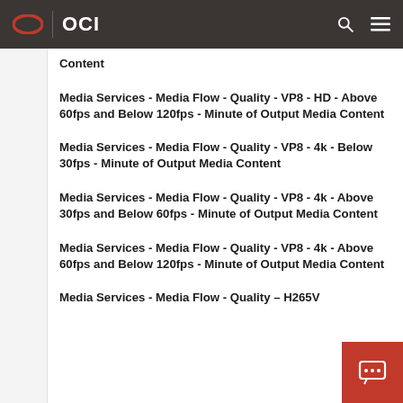OCI
Media Services - Media Flow - Quality - VP8 - HD - Above 60fps and Below 120fps - Minute of Output Media Content
Media Services - Media Flow - Quality - VP8 - 4k - Below 30fps - Minute of Output Media Content
Media Services - Media Flow - Quality - VP8 - 4k - Above 30fps and Below 60fps - Minute of Output Media Content
Media Services - Media Flow - Quality - VP8 - 4k - Above 60fps and Below 120fps - Minute of Output Media Content
Media Services - Media Flow - Quality – H265V